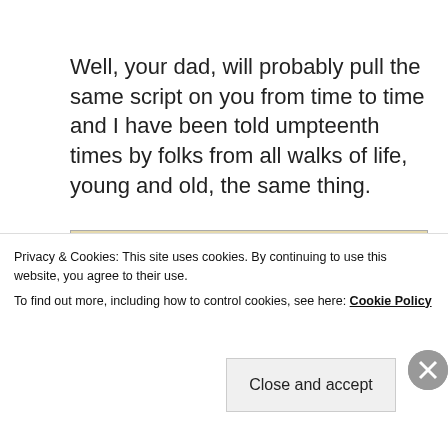Well, your dad, will probably pull the same script on you from time to time and I have been told umpteenth times by folks from all walks of life, young and old, the same thing.
[Figure (photo): Newspaper clipping with headline 'CFCs will peak before end of century, then decrease' — LONDON — American climatologists said the amount of [the National Oceanic and Atmospheric Administration, the...]]
Privacy & Cookies: This site uses cookies. By continuing to use this website, you agree to their use.
To find out more, including how to control cookies, see here: Cookie Policy
Close and accept